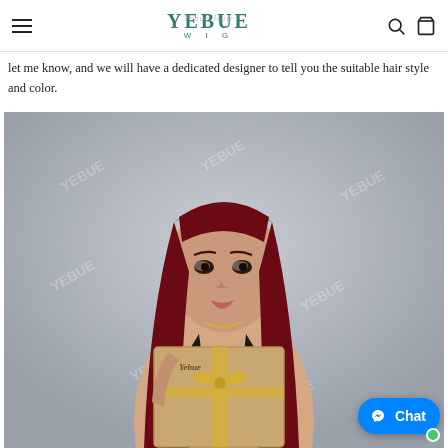YEBUE WIG
let me know, and we will have a dedicated designer to tell you the suitable hair style and color.
[Figure (photo): A woman with long straight dark red/burgundy hair wearing a black top and holding a gold/tan gift box with a gold ribbon bow. The image has YEBUE watermarks repeated in the background. She is posing looking at the camera against a light gray background.]
Chat